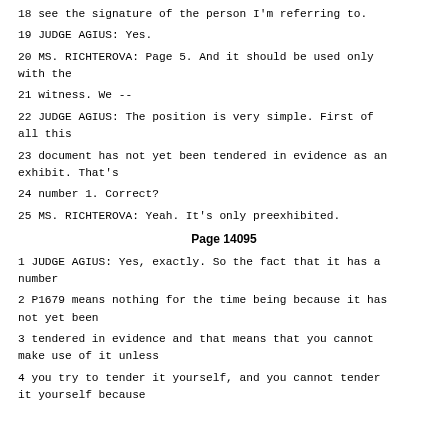18 see the signature of the person I'm referring to.
19 JUDGE AGIUS: Yes.
20 MS. RICHTEROVA: Page 5. And it should be used only with the
21 witness. We --
22 JUDGE AGIUS: The position is very simple. First of all this
23 document has not yet been tendered in evidence as an exhibit. That's
24 number 1. Correct?
25 MS. RICHTEROVA: Yeah. It's only preexhibited.
Page 14095
1 JUDGE AGIUS: Yes, exactly. So the fact that it has a number
2 P1679 means nothing for the time being because it has not yet been
3 tendered in evidence and that means that you cannot make use of it unless
4 you try to tender it yourself, and you cannot tender it yourself because